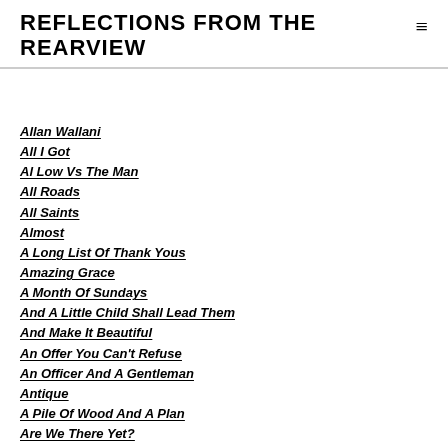REFLECTIONS FROM THE REARVIEW
Allan Wallani
All I Got
Al Low Vs The Man
All Roads
All Saints
Almost
A Long List Of Thank Yous
Amazing Grace
A Month Of Sundays
And A Little Child Shall Lead Them
And Make It Beautiful
An Offer You Can't Refuse
An Officer And A Gentleman
Antique
A Pile Of Wood And A Plan
Are We There Yet?